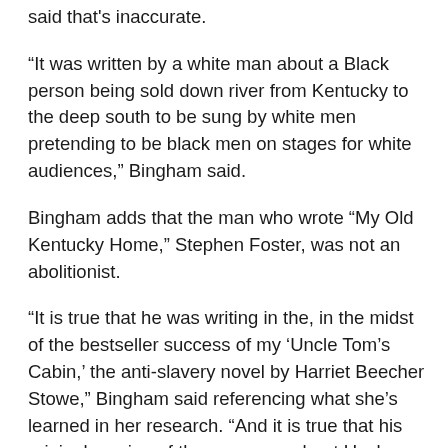said that's inaccurate.
“It was written by a white man about a Black person being sold down river from Kentucky to the deep south to be sung by white men pretending to be black men on stages for white audiences,” Bingham said.
Bingham adds that the man who wrote “My Old Kentucky Home,” Stephen Foster, was not an abolitionist.
“It is true that he was writing in the, in the midst of the bestseller success of my ‘Uncle Tom’s Cabin,’ the anti-slavery novel by Harriet Beecher Stowe,” Bingham said referencing what she’s learned in her research. “And it is true that his original version of the song was about Uncle Tom and not my old